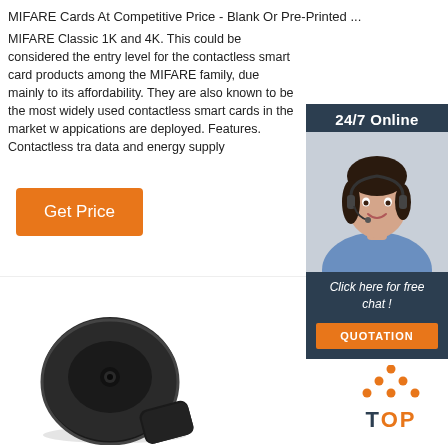MIFARE Cards At Competitive Price - Blank Or Pre-Printed ...
MIFARE Classic 1K and 4K. This could be considered the entry level for the contactless smart card products among the MIFARE family, due mainly to its affordability. They are also known to be the most widely used contactless smart cards in the market w appications are deployed. Features. Contactless tra data and energy supply
[Figure (other): 24/7 Online chat widget with a customer service representative photo, 'Click here for free chat!' text, and an orange QUOTATION button]
[Figure (photo): Black RFID token/disc product photo shown from an angle]
[Figure (other): TOP button logo with orange dots forming a triangle above the word TOP in orange with T in dark blue]